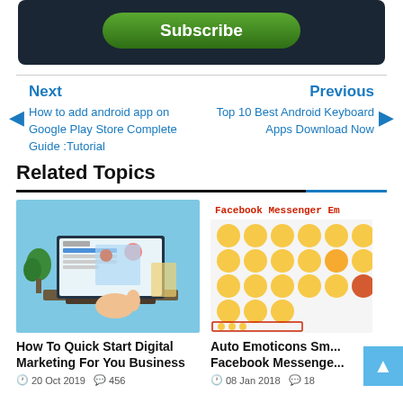[Figure (screenshot): Subscribe button (dark background area with green rounded Subscribe button)]
Next
How to add android app on Google Play Store Complete Guide :Tutorial
Previous
Top 10 Best Android Keyboard Apps Download Now
Related Topics
[Figure (screenshot): Thumbnail image of digital marketing illustration showing laptop with profile UI screens and a hand cursor]
How To Quick Start Digital Marketing For You Business
20 Oct 2019  456
[Figure (screenshot): Thumbnail image partially visible showing Facebook Messenger emoticons/emojis grid]
Auto Emoticons Sm... Facebook Messenge...
08 Jan 2018  18